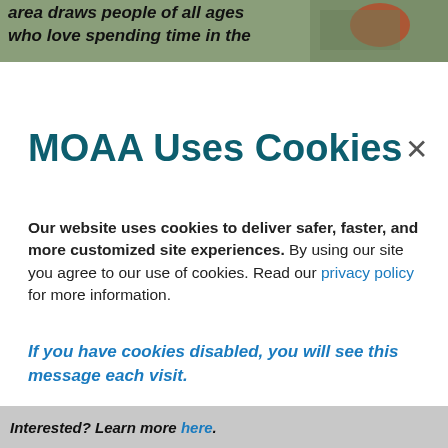[Figure (photo): Partial view of outdoor scene with person in red clothing, overlaid with italic bold text 'area draws people of all ages who love spending time in the']
MOAA Uses Cookies
Our website uses cookies to deliver safer, faster, and more customized site experiences. By using our site you agree to our use of cookies. Read our privacy policy for more information.
If you have cookies disabled, you will see this message each visit.
ACCEPT
Interested? Learn more here.